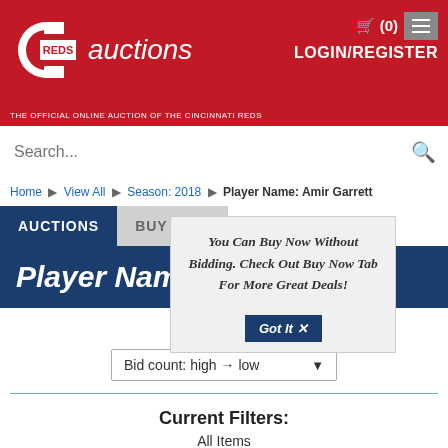[Figure (screenshot): Reds Auctions website header with Cincinnati Reds C logo, 'auctions' italic text, tagline 'THE OFFICIAL ONLINE AUCTION OF THE CINCINNATI REDS', cart icon showing (0), hamburger menu button, LOGIN/REGISTER link, and search bar]
LOGIN/REGISTER
Home ▶ View All ▶ Season: 2018 ▶ Player Name: Amir Garrett
AUCTIONS | BUY NOW
Player Name: Amir Garrett
You Can Buy Now Without Bidding. Check Out Buy Now Tab For More Great Deals! Got It ✕
SORT
Bid count: high → low
Current Filters:
All Items
Season: 2018 ✕